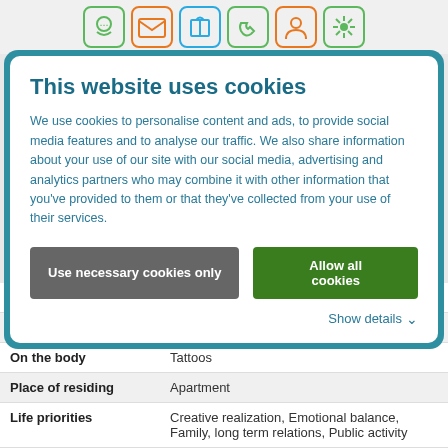[Figure (screenshot): Top icon strip with 6 colored icons: chat/message (green), email (orange), gift (blue/cyan), phone (green), person/account (orange), flower/asterisk (green)]
This website uses cookies
We use cookies to personalise content and ads, to provide social media features and to analyse our traffic. We also share information about your use of our site with our social media, advertising and analytics partners who may combine it with other information that you've provided to them or that they've collected from your use of their services.
Use necessary cookies only | Allow all cookies
Show details
| Marital status | Single |
| Children | No children |
| On the body | Tattoos |
| Place of residing | Apartment |
| Life priorities | Creative realization, Emotional balance, Family, long term relations, Public activity |